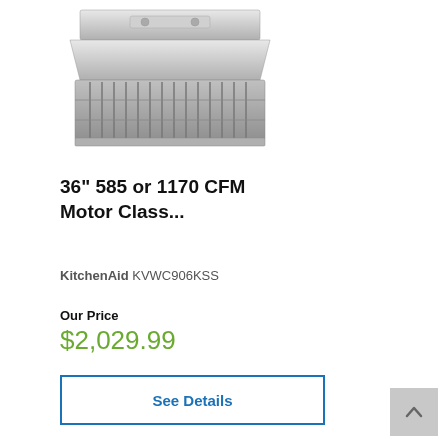[Figure (photo): Stainless steel under-cabinet range hood / ventilation unit viewed from below, showing grille vents and controls]
36" 585 or 1170 CFM Motor Class...
KitchenAid KVWC906KSS
Our Price
$2,029.99
See Details